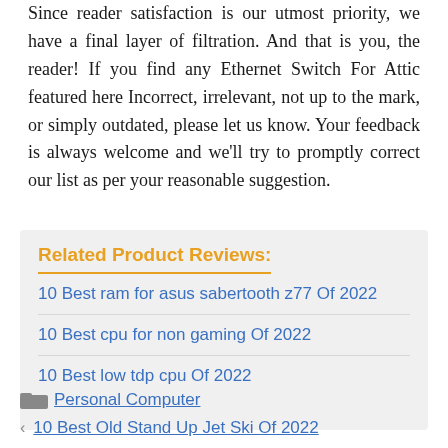Since reader satisfaction is our utmost priority, we have a final layer of filtration. And that is you, the reader! If you find any Ethernet Switch For Attic featured here Incorrect, irrelevant, not up to the mark, or simply outdated, please let us know. Your feedback is always welcome and we'll try to promptly correct our list as per your reasonable suggestion.
Related Product Reviews:
10 Best ram for asus sabertooth z77 Of 2022
10 Best cpu for non gaming Of 2022
10 Best low tdp cpu Of 2022
Personal Computer
10 Best Old Stand Up Jet Ski Of 2022